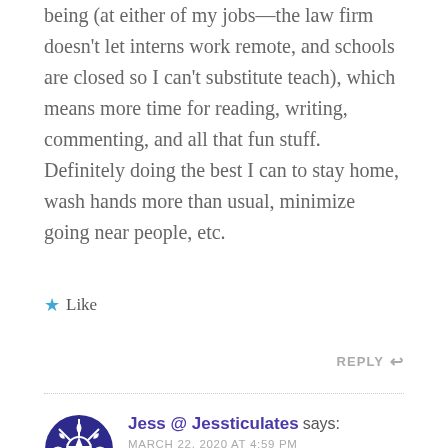being (at either of my jobs—the law firm doesn't let interns work remote, and schools are closed so I can't substitute teach), which means more time for reading, writing, commenting, and all that fun stuff. Definitely doing the best I can to stay home, wash hands more than usual, minimize going near people, etc.
Like
REPLY
Jess @ Jessticulates says: MARCH 22, 2020 AT 4:59 PM
I've heard wonderful things about A Monster Calls,